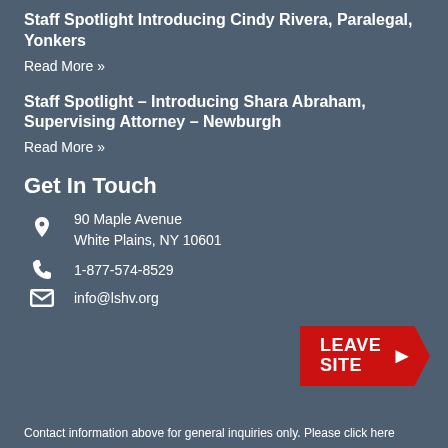Staff Spotlight Introducing Cindy Rivera, Paralegal, Yonkers
Read More »
Staff Spotlight – Introducing Shara Abraham, Supervising Attorney – Newburgh
Read More »
Get In Touch
90 Maple Avenue
White Plains, NY 10601
1-877-574-8529
info@lshv.org
[Figure (infographic): Red arrow-shaped 'LEAVE SITE' button with right-pointing chevron]
Contact information above for general inquiries only. Please click here